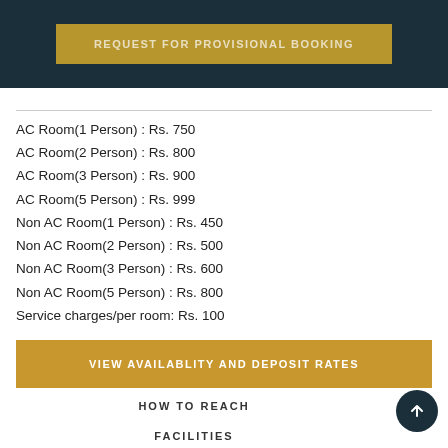[Figure (screenshot): Dark teal banner with golden 'REQUEST FOR PROVISIONAL BOOKING' button]
AC Room(1 Person) : Rs. 750
AC Room(2 Person) : Rs. 800
AC Room(3 Person) : Rs. 900
AC Room(5 Person) : Rs. 999
Non AC Room(1 Person) : Rs. 450
Non AC Room(2 Person) : Rs. 500
Non AC Room(3 Person) : Rs. 600
Non AC Room(5 Person) : Rs. 800
Service charges/per room: Rs. 100
VIEW AVAILABLITY AND DEPOSIT RATES
HOW TO REACH
FACILITIES